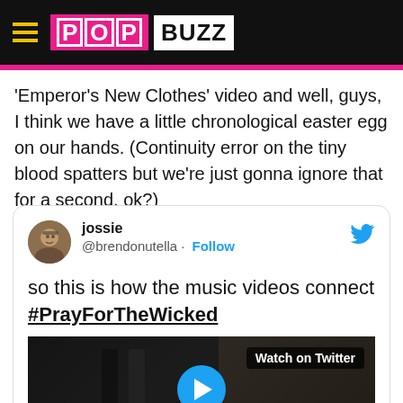PopBuzz
'Emperor's New Clothes' video and well, guys, I think we have a little chronological easter egg on our hands. (Continuity error on the tiny blood spatters but we're just gonna ignore that for a second, ok?)
[Figure (screenshot): Embedded tweet by jossie @brendonutella with text: 'so this is how the music videos connect #PrayForTheWicked' and a video thumbnail with a play button and 'Watch on Twitter' label]